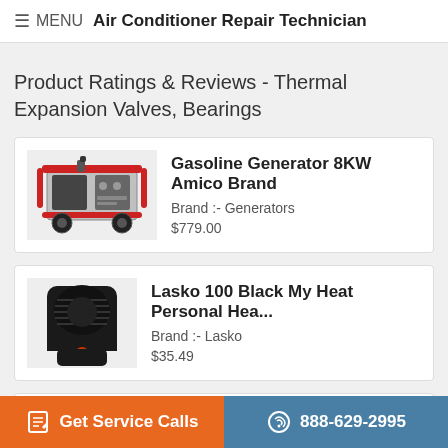MENU  Air Conditioner Repair Technician
Product Ratings & Reviews - Thermal Expansion Valves, Bearings
Gasoline Generator 8KW Amico Brand
Brand :- Generators
$779.00
Lasko 100 Black My Heat Personal Hea...
Brand :- Lasko
$35.49
Daikin KRC72 Centralized Control Board ...
Get Service Calls   888-629-2995